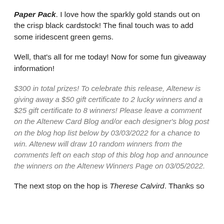Paper Pack. I love how the sparkly gold stands out on the crisp black cardstock! The final touch was to add some iridescent green gems.
Well, that's all for me today! Now for some fun giveaway information!
$300 in total prizes! To celebrate this release, Altenew is giving away a $50 gift certificate to 2 lucky winners and a $25 gift certificate to 8 winners! Please leave a comment on the Altenew Card Blog and/or each designer's blog post on the blog hop list below by 03/03/2022 for a chance to win. Altenew will draw 10 random winners from the comments left on each stop of this blog hop and announce the winners on the Altenew Winners Page on 03/05/2022.
The next stop on the hop is Therese Calvird. Thanks so